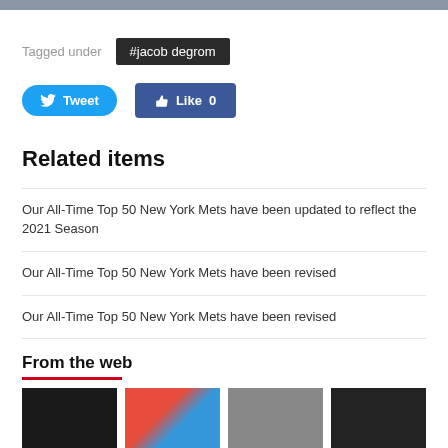Tagged under #jacob degrom
Tweet  Like 0
Related items
Our All-Time Top 50 New York Mets have been updated to reflect the 2021 Season
Our All-Time Top 50 New York Mets have been revised
Our All-Time Top 50 New York Mets have been revised
From the web
[Figure (photo): Four thumbnail images from the web section]